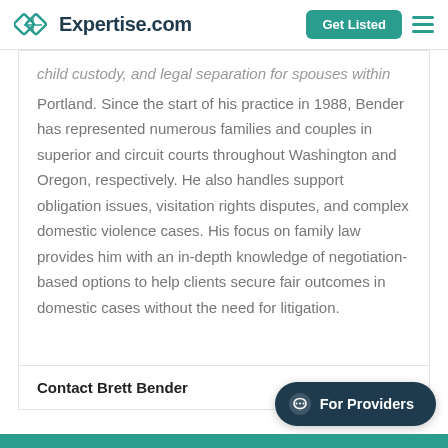Expertise.com | Get Listed
child custody, and legal separation for spouses within Portland. Since the start of his practice in 1988, Bender has represented numerous families and couples in superior and circuit courts throughout Washington and Oregon, respectively. He also handles support obligation issues, visitation rights disputes, and complex domestic violence cases. His focus on family law provides him with an in-depth knowledge of negotiation-based options to help clients secure fair outcomes in domestic cases without the need for litigation.
Contact Brett Bender
For Providers